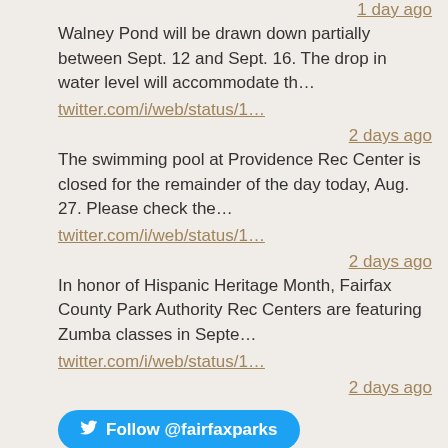1 day ago
Walney Pond will be drawn down partially between Sept. 12 and Sept. 16. The drop in water level will accommodate th…
twitter.com/i/web/status/1…
2 days ago
The swimming pool at Providence Rec Center is closed for the remainder of the day today, Aug. 27. Please check the…
twitter.com/i/web/status/1…
2 days ago
In honor of Hispanic Heritage Month, Fairfax County Park Authority Rec Centers are featuring Zumba classes in Septe…
twitter.com/i/web/status/1…
2 days ago
Follow @fairfaxparks